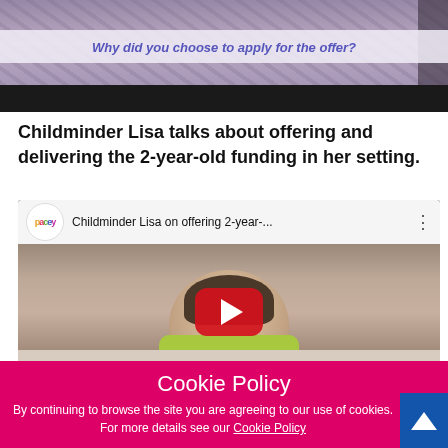[Figure (screenshot): Top portion of a YouTube video screenshot showing a woman in a patterned top with a white semi-transparent overlay caption reading 'Why did you choose to apply for the offer?' in italic blue text. A dark video control bar appears at the bottom of the screenshot.]
Childminder Lisa talks about offering and delivering the 2-year-old funding in her setting.
[Figure (screenshot): YouTube video embed thumbnail showing 'Childminder Lisa on offering 2-year-...' with PACEY logo in top-left, three-dot menu in top-right, and a woman sitting on a sofa in the main frame. A large red YouTube play button is centered over the image.]
Cookie Policy
By continuing to browse the site you are agreeing to our use of cookies. For more details see our Cookie Policy